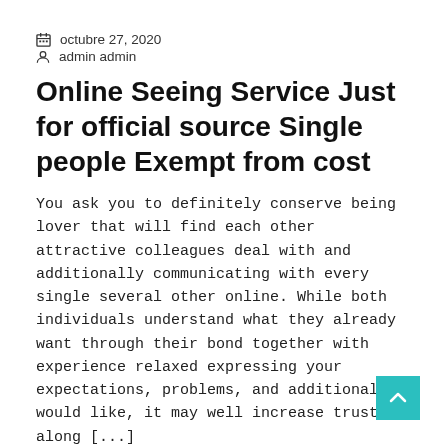octubre 27, 2020
admin admin
Online Seeing Service Just for official source Single people Exempt from cost
You ask you to definitely conserve being lover that will find each other attractive colleagues deal with and additionally communicating with every single several other online. While both individuals understand what they already want through their bond together with experience relaxed expressing your expectations, problems, and additionally would like, it may well increase trust along [...]
READ MORE
abril 21, 2021
admin admin